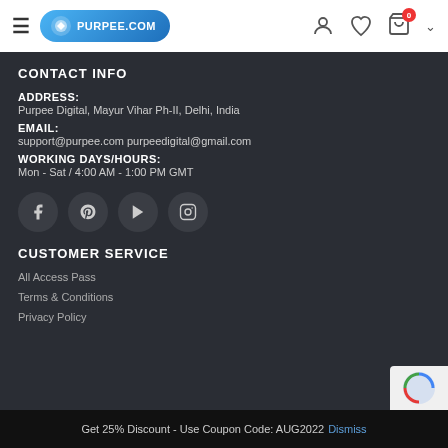purpee.com navigation bar with logo, user icon, wishlist, cart (0)
CONTACT INFO
ADDRESS:
Purpee Digital, Mayur Vihar Ph-II, Delhi, India
EMAIL:
support@purpee.com purpeedigital@gmail.com
WORKING DAYS/HOURS:
Mon - Sat / 4:00 AM - 1:00 PM GMT
[Figure (illustration): Social media icons row: Facebook, Pinterest, YouTube, Instagram — each in a dark circular button]
CUSTOMER SERVICE
All Access Pass
Terms & Conditions
Privacy Policy
Get 25% Discount - Use Coupon Code: AUG2022 Dismiss